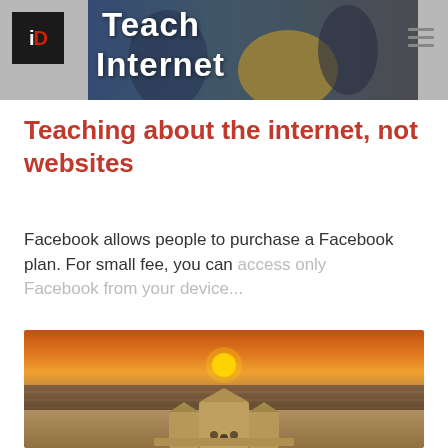Teach Internet
Teaching about the internet, not websites
Facebook allows people to purchase a Facebook plan. For small fee, you can access only Facebook from your device...
[Figure (photo): Sand castle sculpture on a beach at sunset with orange sky and ocean in the background]